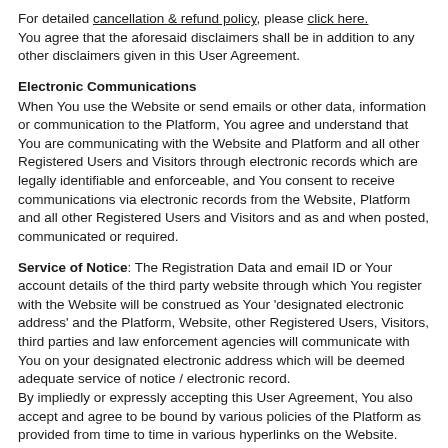For detailed cancellation & refund policy, please click here. You agree that the aforesaid disclaimers shall be in addition to any other disclaimers given in this User Agreement.
Electronic Communications
When You use the Website or send emails or other data, information or communication to the Platform, You agree and understand that You are communicating with the Website and Platform and all other Registered Users and Visitors through electronic records which are legally identifiable and enforceable, and You consent to receive communications via electronic records from the Website, Platform and all other Registered Users and Visitors and as and when posted, communicated or required.
Service of Notice: The Registration Data and email ID or Your account details of the third party website through which You register with the Website will be construed as Your 'designated electronic address' and the Platform, Website, other Registered Users, Visitors, third parties and law enforcement agencies will communicate with You on your designated electronic address which will be deemed adequate service of notice / electronic record.
By impliedly or expressly accepting this User Agreement, You also accept and agree to be bound by various policies of the Platform as provided from time to time in various hyperlinks on the Website.